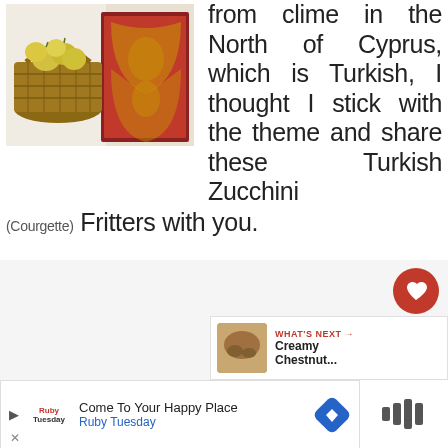[Figure (photo): Photo of a wicker basket with yellow fruits/quinces next to a red ornate cabinet against a white wall]
from clime in the North of Cyprus, which is Turkish, I thought I stick with the theme and share these Turkish Zucchini (Courgette) Fritters with you.
[Figure (infographic): Heart/like button circle (red), number 24, share button circle]
[Figure (photo): Thumbnail of Creamy Chestnut dish next to 'WHAT'S NEXT' label and title 'Creamy Chestnut...']
WHAT'S NEXT → Creamy Chestnut...
[Figure (screenshot): Advertisement banner: Come To Your Happy Place - Ruby Tuesday]
Come To Your Happy Place
Ruby Tuesday